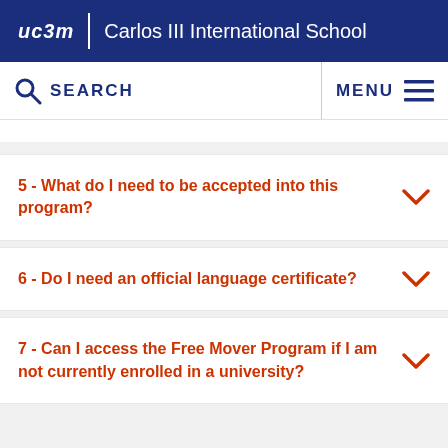uc3m | Carlos III International School
SEARCH   MENU
5 - What do I need to be accepted into this program?
6 - Do I need an official language certificate?
7 - Can I access the Free Mover Program if I am not currently enrolled in a university?